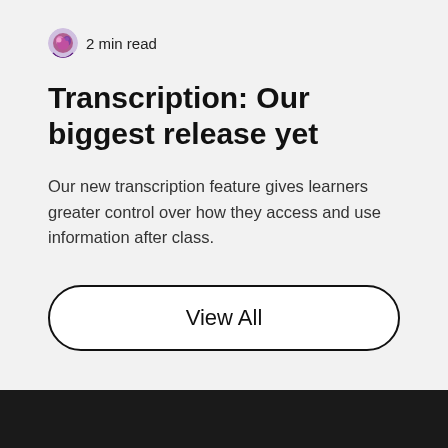2 min read
Transcription: Our biggest release yet
Our new transcription feature gives learners greater control over how they access and use information after class.
View All